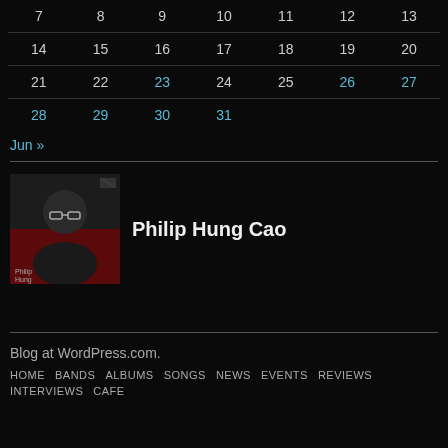| 7 | 8 | 9 | 10 | 11 | 12 | 13 |
| --- | --- | --- | --- | --- | --- | --- |
| 14 | 15 | 16 | 17 | 18 | 19 | 20 |
| 21 | 22 | 23 | 24 | 25 | 26 | 27 |
| 28 | 29 | 30 | 31 |  |  |  |
Jun »
[Figure (photo): Author avatar photo of Philip Hung Cao]
Philip Hung Cao
Blog at WordPress.com.
HOME  BANDS  ALBUMS  SONGS  NEWS  EVENTS  REVIEWS  INTERVIEWS  CAFE